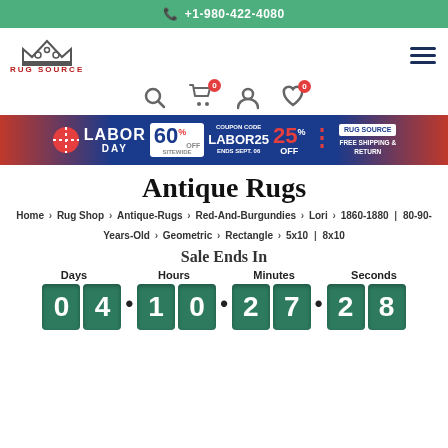+1-980-422-4080
[Figure (logo): Rug Source logo with crown icon and red text]
[Figure (infographic): Labor Day sale banner: 60% off sitewide, coupon code LABOR25, 25% off, free shipping and return]
Antique Rugs
Home > Rug Shop > Antique-Rugs > Red-And-Burgundies > Lori > 1860-1880 | 80-90-Years-Old > Geometric > Rectangle > 5x10 | 8x10
Sale Ends In
Days: 04  Hours: 10  Minutes: 27  Seconds: 28